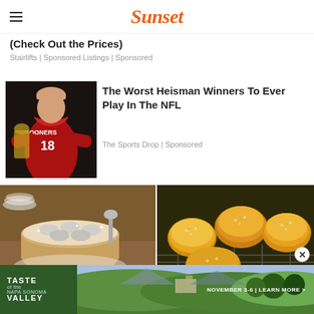Sunset
(Check Out the Prices)
Stairlifts | Sponsored Listings | Sponsored
[Figure (photo): Man in Oklahoma Sooners #18 red football jersey posing with Heisman trophy]
The Worst Heisman Winners To Ever Play In The NFL
The Sports Drop | Sponsored
[Figure (photo): Round cake with powdered sugar and sliced apples on a wooden surface]
[Figure (photo): Golden baked dinner rolls on a cooling rack]
[Figure (photo): Taste of the Valley banner ad - November 3-6 | Learn More >]